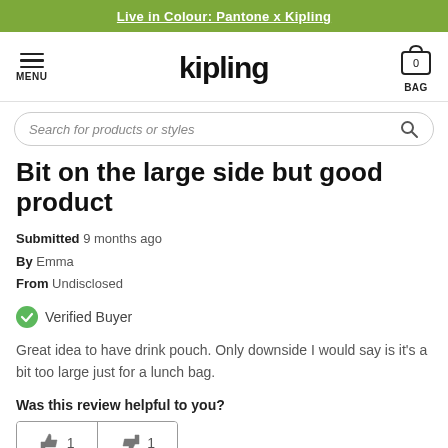Live in Colour: Pantone x Kipling
[Figure (logo): Kipling brand logo with hamburger menu on the left and bag icon on the right]
Search for products or styles
Bit on the large side but good product
Submitted 9 months ago
By Emma
From Undisclosed
Verified Buyer
Great idea to have drink pouch. Only downside I would say is it's a bit too large just for a lunch bag.
Was this review helpful to you?
👍 1  👎 1